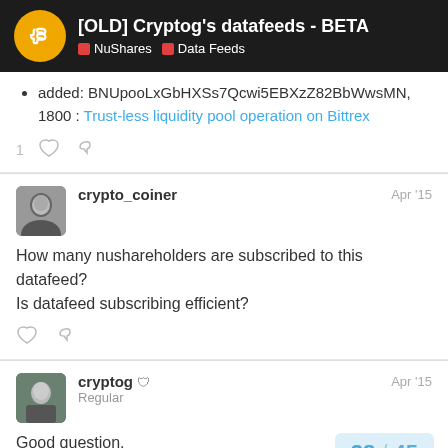[OLD] Cryptog's datafeeds - BETA | NuShares | Data Feeds
added: BNUpooLxGbHXSs7Qcwi5EBXzZ82BbWwsMN, 1800 : Trust-less liquidity pool operation on Bittrex
1 [like] [link]
crypto_coiner  Apr '15
How many nushareholders are subscribed to this datafeed?
Is datafeed subscribing efficient?
[like] [link]
cryptog  Regular  Apr '15
Good question.
I guess there are only a handful of suscrib
38 / 45